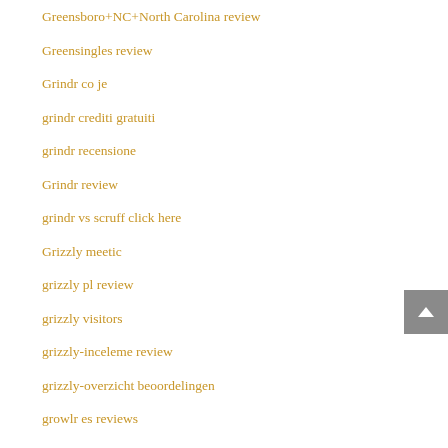Greensboro+NC+North Carolina review
Greensingles review
Grindr co je
grindr crediti gratuiti
grindr recensione
Grindr review
grindr vs scruff click here
Grizzly meetic
grizzly pl review
grizzly visitors
grizzly-inceleme review
grizzly-overzicht beoordelingen
growlr es reviews
Growlr lgbt website
Growlr meetic